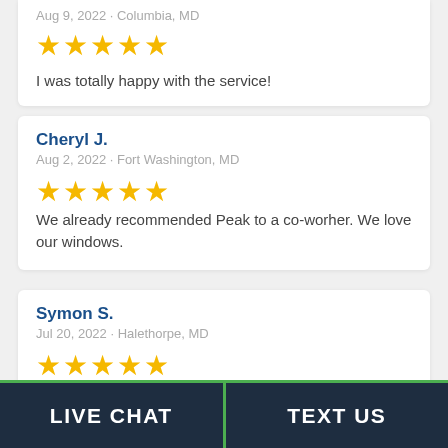Aug 9, 2022 · Columbia, MD
[Figure (other): 5 gold stars rating]
I was totally happy with the service!
Cheryl J.
Aug 2, 2022 · Fort Washington, MD
[Figure (other): 5 gold stars rating]
We already recommended Peak to a co-worher. We love our windows.
Symon S.
Jul 20, 2022 · Halethorpe, MD
[Figure (other): 5 gold stars rating (partially visible)]
LIVE CHAT   TEXT US